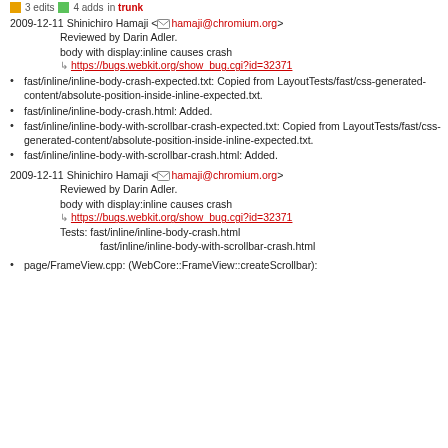3 edits  4 adds  in trunk
2009-12-11 Shinichiro Hamaji <hamaji@chromium.org>
Reviewed by Darin Adler.
body with display:inline causes crash
https://bugs.webkit.org/show_bug.cgi?id=32371
fast/inline/inline-body-crash-expected.txt: Copied from LayoutTests/fast/css-generated-content/absolute-position-inside-inline-expected.txt.
fast/inline/inline-body-crash.html: Added.
fast/inline/inline-body-with-scrollbar-crash-expected.txt: Copied from LayoutTests/fast/css-generated-content/absolute-position-inside-inline-expected.txt.
fast/inline/inline-body-with-scrollbar-crash.html: Added.
2009-12-11 Shinichiro Hamaji <hamaji@chromium.org>
Reviewed by Darin Adler.
body with display:inline causes crash
https://bugs.webkit.org/show_bug.cgi?id=32371
Tests: fast/inline/inline-body-crash.html
fast/inline/inline-body-with-scrollbar-crash.html
page/FrameView.cpp: (WebCore::FrameView::createScrollbar):